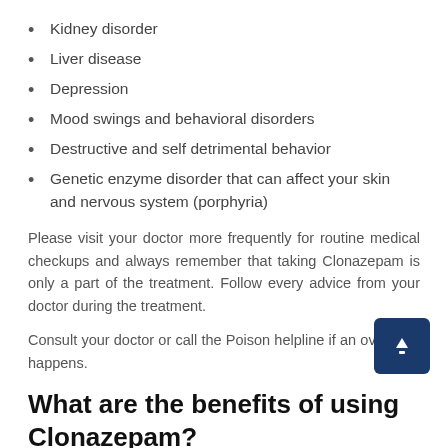Kidney disorder
Liver disease
Depression
Mood swings and behavioral disorders
Destructive and self detrimental behavior
Genetic enzyme disorder that can affect your skin and nervous system (porphyria)
Please visit your doctor more frequently for routine medical checkups and always remember that taking Clonazepam is only a part of the treatment. Follow every advice from your doctor during the treatment.
Consult your doctor or call the Poison helpline if an overdose happens.
What are the benefits of using Clonazepam?